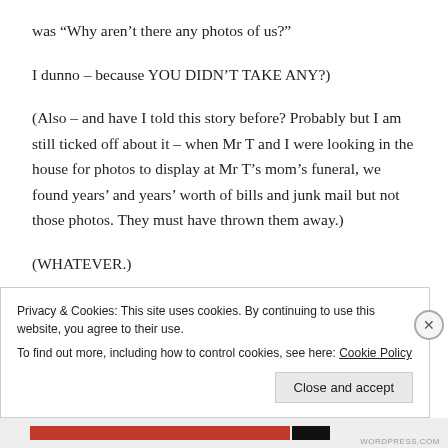was “Why aren’t there any photos of us?”
I dunno – because YOU DIDN’T TAKE ANY?)
(Also – and have I told this story before? Probably but I am still ticked off about it – when Mr T and I were looking in the house for photos to display at Mr T’s mom’s funeral, we found years’ and years’ worth of bills and junk mail but not those photos. They must have thrown them away.)
(WHATEVER.)
Privacy & Cookies: This site uses cookies. By continuing to use this website, you agree to their use.
To find out more, including how to control cookies, see here: Cookie Policy